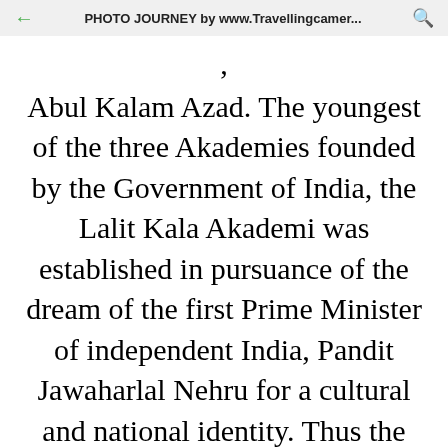PHOTO JOURNEY by www.Travellingcamer...
, Abul Kalam Azad. The youngest of the three Akademies founded by the Government of India, the Lalit Kala Akademi was established in pursuance of the dream of the first Prime Minister of independent India, Pandit Jawaharlal Nehru for a cultural and national identity. Thus the Lalit Kala Akademi as one among three such national